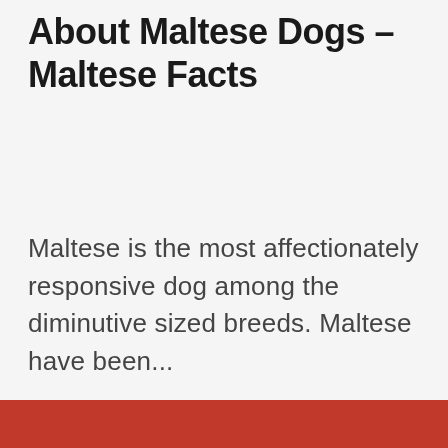About Maltese Dogs – Maltese Facts
Maltese is the most affectionately responsive dog among the diminutive sized breeds. Maltese have been...
[Figure (other): Solid red/dark-red horizontal bar spanning full width]